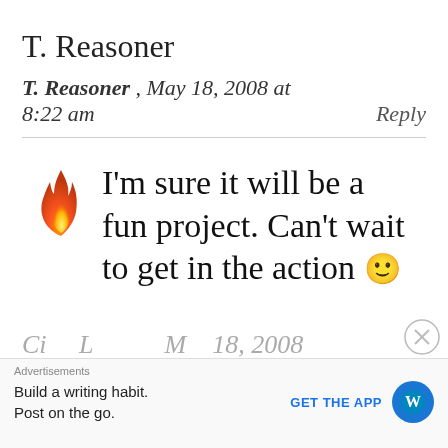T. Reasoner
T. Reasoner , May 18, 2008 at 8:22 am   Reply
I'm sure it will be a fun project. Can't wait to get in the action 🙂
Advertisements
Build a writing habit. Post on the go.
GET THE APP